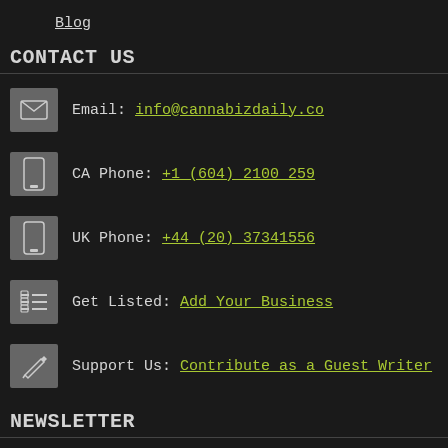Blog
CONTACT US
Email: info@cannabizdaily.co
CA Phone: +1 (604) 2100 259
UK Phone: +44 (20) 37341556
Get Listed: Add Your Business
Support Us: Contribute as a Guest Writer
NEWSLETTER
Get All the Latest News and Business Information in the Cannabis Industry